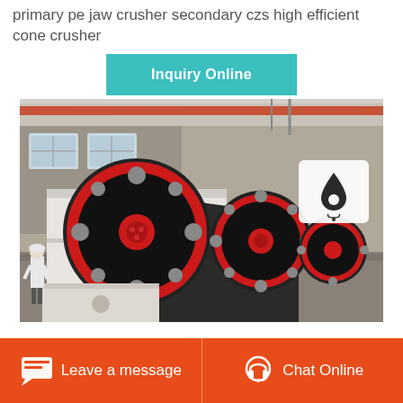primary pe jaw crusher secondary czs high efficient cone crusher
Inquiry Online
[Figure (photo): Industrial jaw crushers lined up in a factory/warehouse setting. Large red and black flywheel visible on the primary machine, with a worker in white standing near the left. Multiple crushers recede into the background. A small overlay icon (teardrop/pin shape) appears in the upper right of the image.]
Leave a message
Chat Online